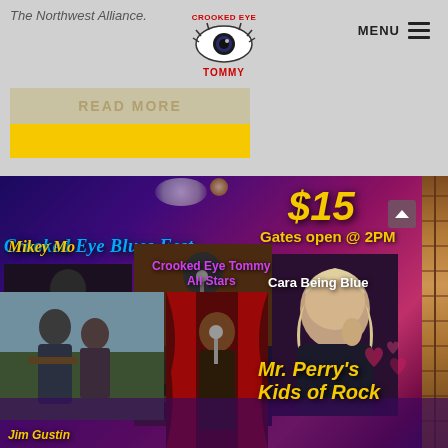The Northwest Alliance.
[Figure (logo): Crooked Eye Tommy logo with eye graphic and stylized text]
MENU
READ MORE
[Figure (infographic): Crooked Eye Blues Fest event flyer showing performers: Mikey Mo, Crooked Eye Tommy All Stars, Cara Being Blue, Jim Gustin, Mr. Perry's Kids of Rock. Price $15, Gates open @ 2PM.]